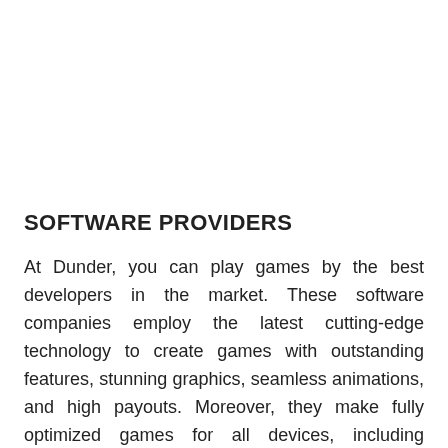SOFTWARE PROVIDERS
At Dunder, you can play games by the best developers in the market. These software companies employ the latest cutting-edge technology to create games with outstanding features, stunning graphics, seamless animations, and high payouts. Moreover, they make fully optimized games for all devices, including smartphones, tablets, and personal computers. The most respected software providers include: Evolution Gaming, Microgaming, NetEnt, Play'n GO, Yggdrasil.